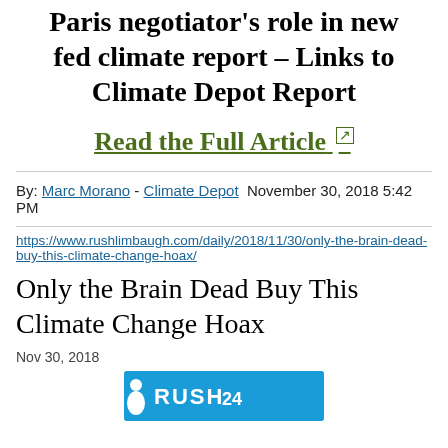Paris negotiator's role in new fed climate report – Links to Climate Depot Report
Read the Full Article ↗
By: Marc Morano - Climate Depot  November 30, 2018 5:42 PM
https://www.rushlimbaugh.com/daily/2018/11/30/only-the-brain-dead-buy-this-climate-change-hoax/
Only the Brain Dead Buy This Climate Change Hoax
Nov 30, 2018